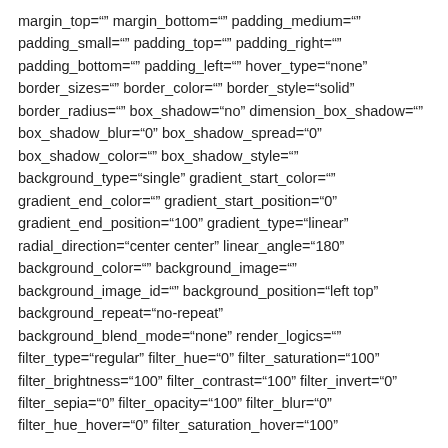margin_top="" margin_bottom="" padding_medium="" padding_small="" padding_top="" padding_right="" padding_bottom="" padding_left="" hover_type="none" border_sizes="" border_color="" border_style="solid" border_radius="" box_shadow="no" dimension_box_shadow="" box_shadow_blur="0" box_shadow_spread="0" box_shadow_color="" box_shadow_style="" background_type="single" gradient_start_color="" gradient_end_color="" gradient_start_position="0" gradient_end_position="100" gradient_type="linear" radial_direction="center center" linear_angle="180" background_color="" background_image="" background_image_id="" background_position="left top" background_repeat="no-repeat" background_blend_mode="none" render_logics="" filter_type="regular" filter_hue="0" filter_saturation="100" filter_brightness="100" filter_contrast="100" filter_invert="0" filter_sepia="0" filter_opacity="100" filter_blur="0" filter_hue_hover="0" filter_saturation_hover="100"